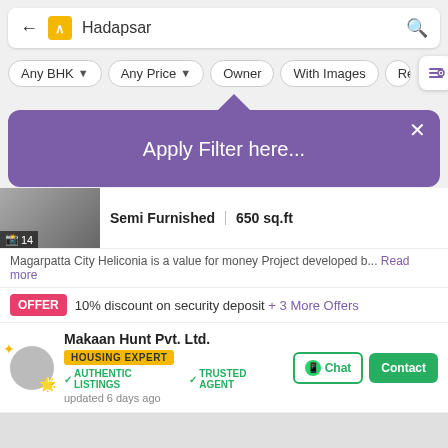[Figure (screenshot): Mobile app search bar with back arrow, Housing.com logo, 'Hadapsar' text, and search icon]
[Figure (screenshot): Filter chips row: Any BHK, Any Price, Owner, With Images, Rece... and filter icon button]
[Figure (screenshot): Purple tooltip popup saying 'Apply Filter here...' with X close button and arrow pointing up]
Semi Furnished   650 sq.ft
Magarpatta City Heliconia is a value for money Project developed b...
Read more
OFFER   10% discount on security deposit + 3 More Offers
Makaan Hunt Pvt. Ltd.
HOUSING EXPERT
AUTHENTIC LISTINGS   TRUSTED AGENT
updated 6 days ago